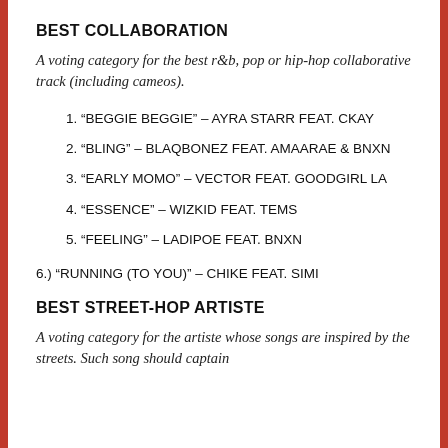BEST COLLABORATION
A voting category for the best r&b, pop or hip-hop collaborative track (including cameos).
1. “BEGGIE BEGGIE” – AYRA STARR FEAT. CKAY
2. “BLING” – BLAQBONEZ FEAT. AMAARAE & BNXN
3. “EARLY MOMO” – VECTOR FEAT. GOODGIRL LA
4. “ESSENCE” – WIZKID FEAT. TEMS
5. “FEELING” – LADIPOE FEAT. BNXN
6.) “RUNNING (TO YOU)” – CHIKE FEAT. SIMI
BEST STREET-HOP ARTISTE
A voting category for the artiste whose songs are inspired by the streets. Such song should captain